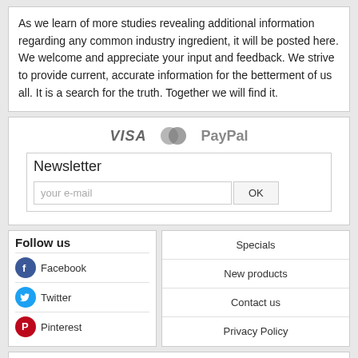As we learn of more studies revealing additional information regarding any common industry ingredient, it will be posted here. We welcome and appreciate your input and feedback. We strive to provide current, accurate information for the betterment of us all. It is a search for the truth. Together we will find it.
[Figure (logo): Payment method logos: VISA, Mastercard, PayPal]
Newsletter
your e-mail [OK button]
Follow us
Facebook
Twitter
Pinterest
Specials
New products
Contact us
Privacy Policy
About Us